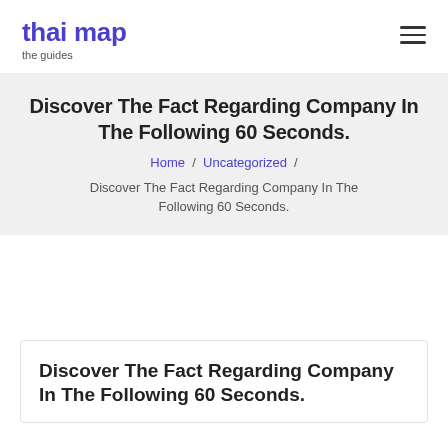thai map
the guides
Discover The Fact Regarding Company In The Following 60 Seconds.
Home / Uncategorized / Discover The Fact Regarding Company In The Following 60 Seconds.
Discover The Fact Regarding Company In The Following 60 Seconds.